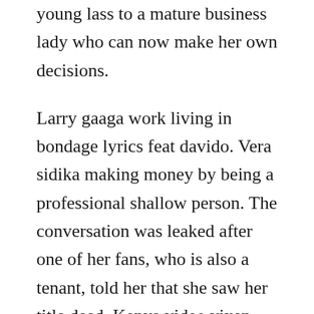young lass to a mature business lady who can now make her own decisions.
Larry gaaga work living in bondage lyrics feat davido. Vera sidika making money by being a professional shallow person. The conversation was leaked after one of her fans, who is also a tenant, told her that she saw her title deed. Kenya video vixen, vera sidika shares twerking bathroom. Being the second time this lady is celebrating her 21st birthday she made sure that she travelled to one. This is vera sidikas never told before hidden talent make sure diamond is the father vera sidika